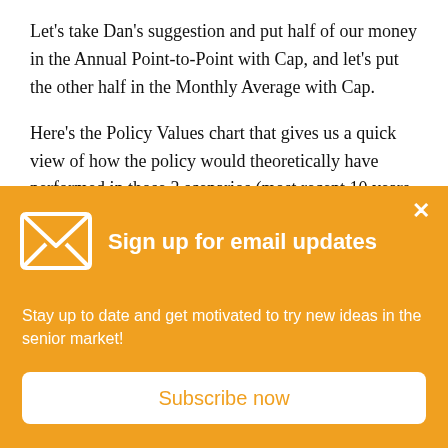Let's take Dan's suggestion and put half of our money in the Annual Point-to-Point with Cap, and let's put the other half in the Monthly Average with Cap.
Here's the Policy Values chart that gives us a quick view of how the policy would theoretically have performed in those 3 scenarios (most recent 10 years, the lowest 10 years, and the best 10 years):
Sign up for email updates
Stay up to date and get motivated to try new ideas in the senior market!
Subscribe now